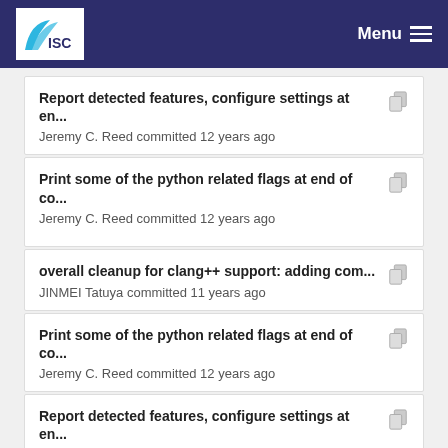ISC Menu
Report detected features, configure settings at en...
Jeremy C. Reed committed 12 years ago
Print some of the python related flags at end of co...
Jeremy C. Reed committed 12 years ago
overall cleanup for clang++ support: adding com...
JINMEI Tatuya committed 11 years ago
Print some of the python related flags at end of co...
Jeremy C. Reed committed 12 years ago
Report detected features, configure settings at en...
Jeremy C. Reed committed 12 years ago